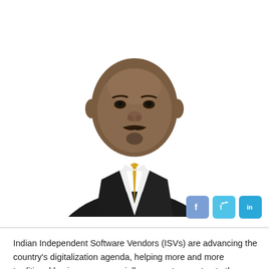[Figure (photo): Professional headshot of an Indian man in a dark suit and yellow/gold patterned tie, white shirt, with a mustache and goatee, against a white background.]
Indian Independent Software Vendors (ISVs) are advancing the country's digitalization agenda, helping more and more traditional businesses, especially non-metros, get onto the digital highway. A number of mid-size Indian ISVs are building their future on Oracle's secure, second-generation cloud infrastructure. Promising their cloud applications